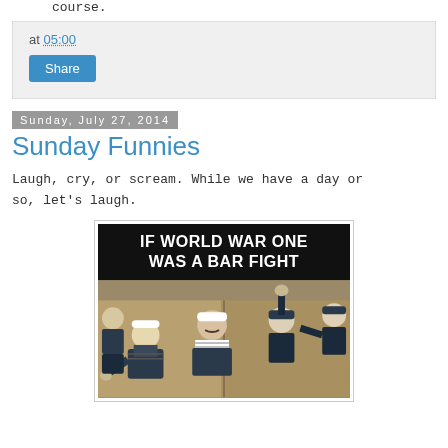course.
at 05:00
Share
Sunday, July 27, 2014
Sunday Funnies
Laugh, cry, or scream. While we have a day or so, let's laugh.
[Figure (photo): Meme image with black header text 'IF WORLD WAR ONE WAS A BAR FIGHT' over a photo of sailors in a bar fight]